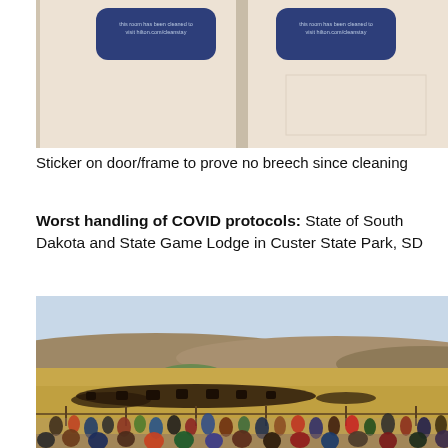[Figure (photo): Two Hilton CleanStay door seal stickers on a hotel room door frame, showing the hilton.com/cleanstay URL on blue rounded-rectangle labels.]
Sticker on door/frame to prove no breech since cleaning
Worst handling of COVID protocols: State of South Dakota and State Game Lodge in Custer State Park, SD
[Figure (photo): A large crowd of people standing along a fence watching a bison herd on a wide open prairie landscape with rolling hills in the background, at Custer State Park, SD.]